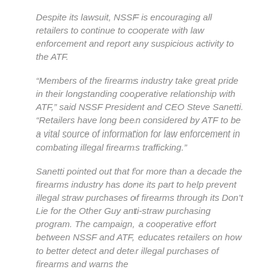Despite its lawsuit, NSSF is encouraging all retailers to continue to cooperate with law enforcement and report any suspicious activity to the ATF.
“Members of the firearms industry take great pride in their longstanding cooperative relationship with ATF,” said NSSF President and CEO Steve Sanetti. “Retailers have long been considered by ATF to be a vital source of information for law enforcement in combating illegal firearms trafficking.”
Sanetti pointed out that for more than a decade the firearms industry has done its part to help prevent illegal straw purchases of firearms through its Don’t Lie for the Other Guy anti-straw purchasing program. The campaign, a cooperative effort between NSSF and ATF, educates retailers on how to better detect and deter illegal purchases of firearms and warns the